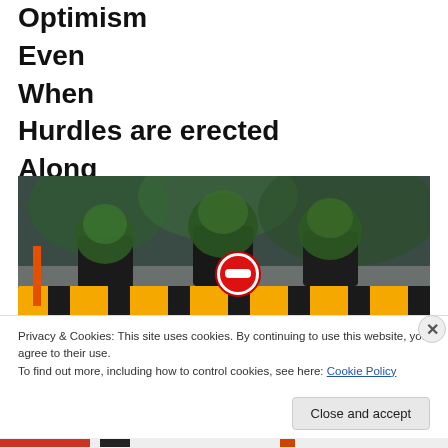Optimism
Even
When
Hurdles are erected
Along
The path
[Figure (photo): Outdoor urban scene with potted bonsai plants in dark containers arranged on a surface, with a yellow-and-black striped barrier in the foreground and a red no-entry sign. Blurred street and greenery in background.]
Privacy & Cookies: This site uses cookies. By continuing to use this website, you agree to their use.
To find out more, including how to control cookies, see here: Cookie Policy
Close and accept